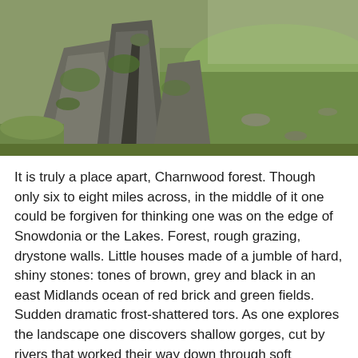[Figure (photo): Photograph of moss-covered rocks and boulders on grassy terrain, likely in Charnwood Forest. Large stone outcroppings with green and grey lichen visible against a green grassy hillside background.]
It is truly a place apart, Charnwood forest. Though only six to eight miles across, in the middle of it one could be forgiven for thinking one was on the edge of Snowdonia or the Lakes. Forest, rough grazing, drystone walls. Little houses made of a jumble of hard, shiny stones: tones of brown, grey and black in an east Midlands ocean of red brick and green fields. Sudden dramatic frost-shattered tors. As one explores the landscape one discovers shallow gorges, cut by rivers that worked their way down through soft sandstone, washing it away as they did so, and then found themselves cutting steeply into something harder. At